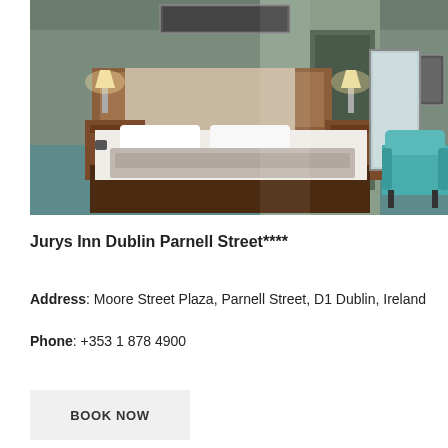[Figure (photo): Hotel bedroom with double bed, wooden headboard with wall lamps, white pillows and bedding with grey throw, teal carpet, turquoise armchair on right, mirror visible in background, framed artwork on walls.]
Jurys Inn Dublin Parnell Street****
Address: Moore Street Plaza, Parnell Street, D1 Dublin, Ireland
Phone:  +353 1 878 4900
BOOK NOW